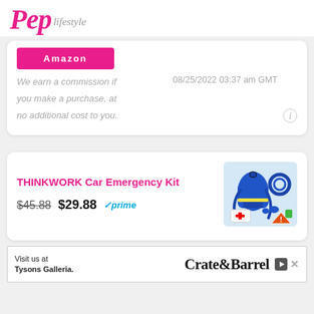[Figure (logo): Pep Lifestyle logo in pink and grey script]
Amazon
We earn a commission if you make a purchase, at no additional cost to you.  08/25/2022 03:37 am GMT
THINKWORK Car Emergency Kit
$45.88  $29.88  ✓prime
[Figure (photo): THINKWORK Car Emergency Kit - blue backpack bag with emergency tools, tow rope, gloves, first aid kit, warning triangle]
[Figure (screenshot): Crate & Barrel advertisement banner: Visit us at Tysons Galleria.]